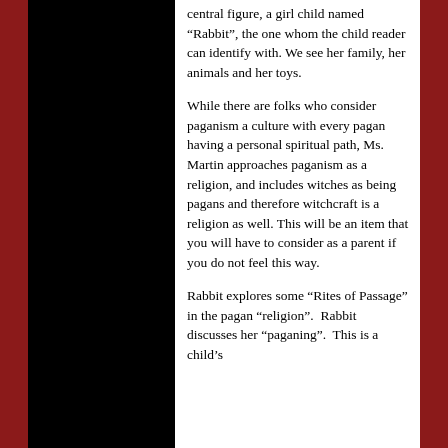central figure, a girl child named “Rabbit”, the one whom the child reader can identify with. We see her family, her animals and her toys.
While there are folks who consider paganism a culture with every pagan having a personal spiritual path, Ms. Martin approaches paganism as a religion, and includes witches as being pagans and therefore witchcraft is a religion as well. This will be an item that you will have to consider as a parent if you do not feel this way.
Rabbit explores some “Rites of Passage” in the pagan “religion”. Rabbit discusses her “paganing”. This is a child’s